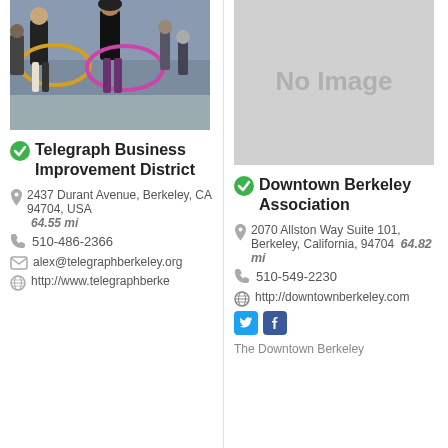[Figure (photo): Two people hula hooping at an outdoor event, crowd in background]
Telegraph Business Improvement District
2437 Durant Avenue, Berkeley, CA 94704, USA   64.55 mi
510-486-2366
alex@telegraphberkeley.org
http://www.telegraphberke
[Figure (other): No Image placeholder - gray rectangle]
Downtown Berkeley Association
2070 Allston Way Suite 101, Berkeley, California, 94704   64.82 mi
510-549-2230
http://downtownberkeley.com
The Downtown Berkeley